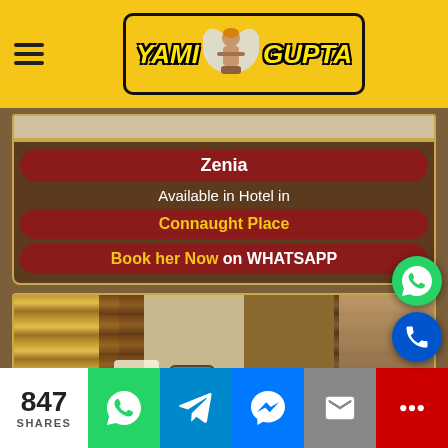[Figure (screenshot): Yami Gupta website header with yellow background, hamburger menu icon on left, and logo with angel figure in center]
Zenia
Available in Hotel in
Connaught Place
Book her Now on WHATSAPP
[Figure (photo): Blurred photo of a woman in a hotel room with yellow and brown curtains, lamp, and phone visible]
847 SHARES